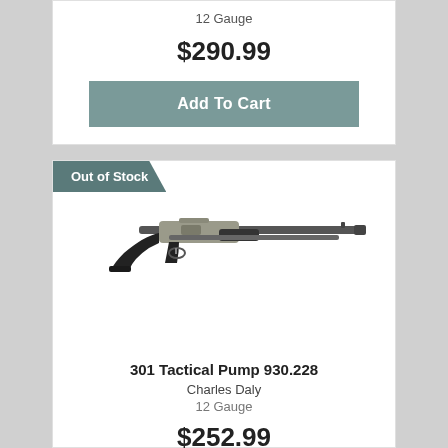12 Gauge
$290.99
Add To Cart
Out of Stock
[Figure (photo): Photo of a 301 Tactical Pump 930.228 shotgun by Charles Daly, silver/grey finish with black synthetic stock]
301 Tactical Pump 930.228
Charles Daly
12 Gauge
$252.99